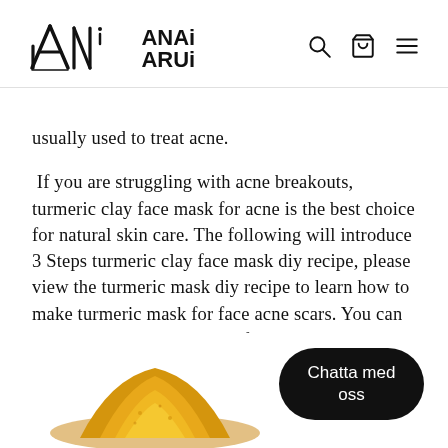ANAi ARUi [logo with search, cart, menu icons]
usually used to treat acne.
If you are struggling with acne breakouts, turmeric clay face mask for acne is the best choice for natural skin care. The following will introduce 3 Steps turmeric clay face mask diy recipe, please view the turmeric mask diy recipe to learn how to make turmeric mask for face acne scars. You can diy your own turmeric clay face mask at home.
[Figure (photo): Pile of yellow turmeric powder at the bottom of the page]
Chatta med oss